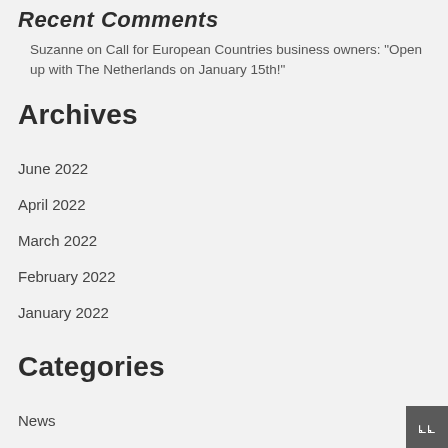Recent Comments
Suzanne on Call for European Countries business owners: "Open up with The Netherlands on January 15th!"
Archives
June 2022
April 2022
March 2022
February 2022
January 2022
Categories
News
Uncategorized